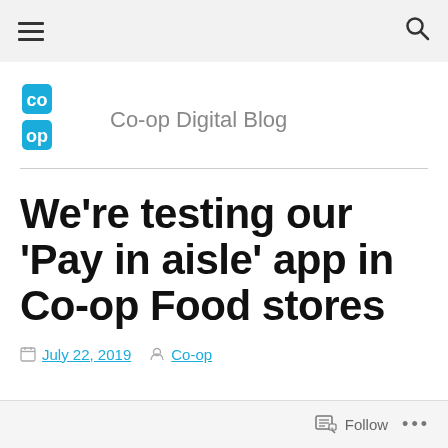Navigation bar with hamburger menu and search icon
[Figure (logo): Co-op logo: two overlapping blue squares with 'co' and 'op' text]
Co-op Digital Blog
We’re testing our ‘Pay in aisle’ app in Co-op Food stores
July 22, 2019  Co-op
Follow ...